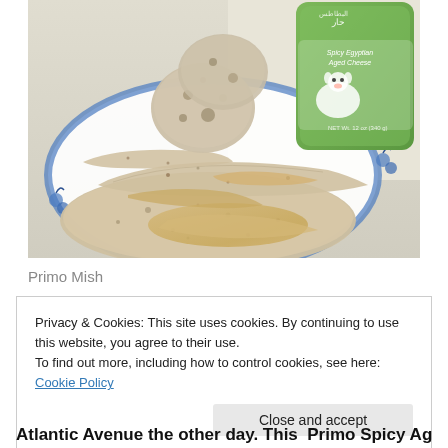[Figure (photo): A white ceramic plate with blue cherry decorations holds pieces of flatbread/pita with a creamy spread (cheese). In the background is a green container labeled 'Spicy Egyptian Aged Cheese' with Arabic text.]
Primo Mish
Privacy & Cookies: This site uses cookies. By continuing to use this website, you agree to their use.
To find out more, including how to control cookies, see here: Cookie Policy
Close and accept
Atlantic Avenue the other day. This Primo Spicy Aged